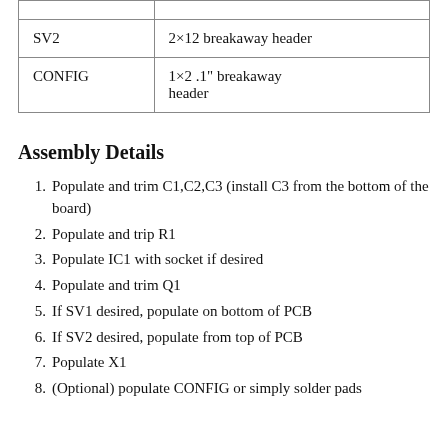|  |  |
| --- | --- |
|  |  |
| SV2 | 2×12 breakaway header |
| CONFIG | 1×2 .1" breakaway header |
Assembly Details
Populate and trim C1,C2,C3 (install C3 from the bottom of the board)
Populate and trip R1
Populate IC1 with socket if desired
Populate and trim Q1
If SV1 desired, populate on bottom of PCB
If SV2 desired, populate from top of PCB
Populate X1
(Optional) populate CONFIG or simply solder pads